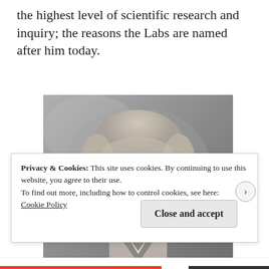the highest level of scientific research and inquiry; the reasons the Labs are named after him today.
[Figure (photo): Black and white portrait photograph of a man with light hair, in early 20th century style, looking directly at the camera with a serious expression.]
Privacy & Cookies: This site uses cookies. By continuing to use this website, you agree to their use.
To find out more, including how to control cookies, see here:
Cookie Policy
Close and accept